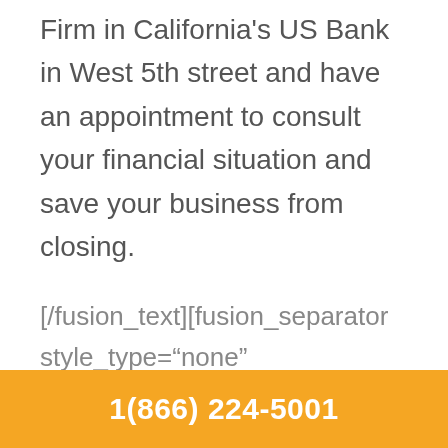Firm in California's US Bank in West 5th street and have an appointment to consult your financial situation and save your business from closing.
[/fusion_text][fusion_separator style_type="none" hide_on_mobile="small-visibility,medium-visibility,large-
1(866) 224-5001